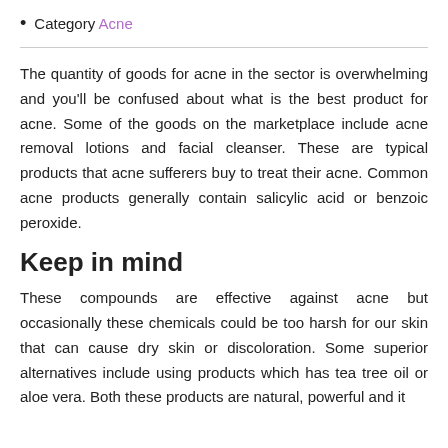Category Acne
The quantity of goods for acne in the sector is overwhelming and you'll be confused about what is the best product for acne. Some of the goods on the marketplace include acne removal lotions and facial cleanser. These are typical products that acne sufferers buy to treat their acne. Common acne products generally contain salicylic acid or benzoic peroxide.
Keep in mind
These compounds are effective against acne but occasionally these chemicals could be too harsh for our skin that can cause dry skin or discoloration. Some superior alternatives include using products which has tea tree oil or aloe vera. Both these products are natural, powerful and it